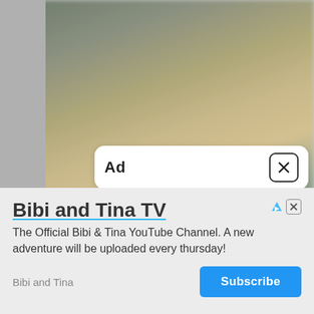[Figure (screenshot): Blurred background photo of a room/office scene visible behind an ad overlay]
Ad
X
Bibi and Tina TV
The Official Bibi & Tina YouTube Channel. A new adventure will be uploaded every thursday!
Bibi and Tina
Subscribe